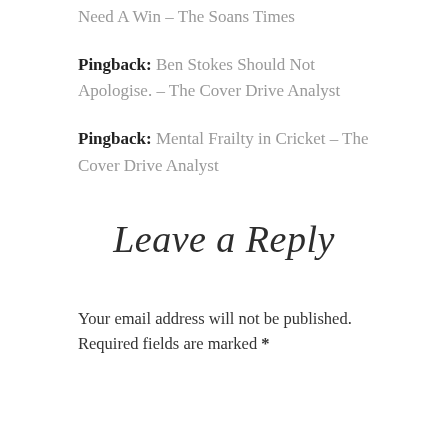Need A Win – The Soans Times
Pingback: Ben Stokes Should Not Apologise. – The Cover Drive Analyst
Pingback: Mental Frailty in Cricket – The Cover Drive Analyst
Leave a Reply
Your email address will not be published. Required fields are marked *